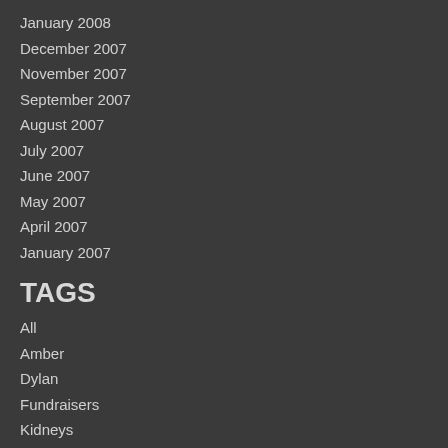January 2008
December 2007
November 2007
September 2007
August 2007
July 2007
June 2007
May 2007
April 2007
January 2007
TAGS
All
Amber
Dylan
Fundraisers
Kidneys
Make A Wish
Noah
Post Transplant
Pre Transplant